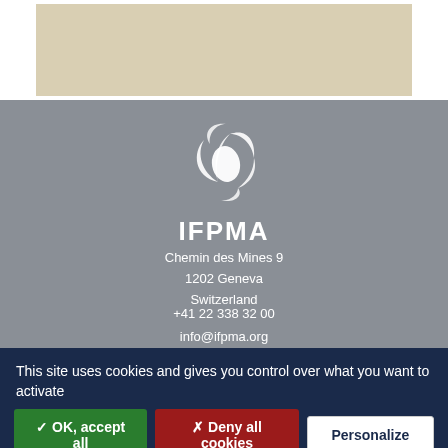[Figure (other): Beige/tan colored rectangle at top of page, appears to be a content image placeholder]
[Figure (logo): IFPMA organization logo — stylized white swirl/leaf shape on gray background]
IFPMA
Chemin des Mines 9
1202 Geneva
Switzerland
+41 22 338 32 00
info@ifpma.org
File a Code Complaint   Privacy Policy   Terms of Use
Access to Our Extranet   Careers   Contact Us
This site uses cookies and gives you control over what you want to activate
✓ OK, accept all
✗ Deny all cookies
Personalize
Privacy policy